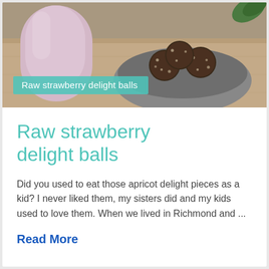[Figure (photo): Food photo showing a pink cup/mug on the left and a dark plate/bowl with chocolate coconut balls (raw strawberry delight balls) on the right, on a wooden surface. A teal/mint colored banner overlay reads 'Raw strawberry delight balls'.]
Raw strawberry delight balls
Did you used to eat those apricot delight pieces as a kid? I never liked them, my sisters did and my kids used to love them. When we lived in Richmond and ...
Read More